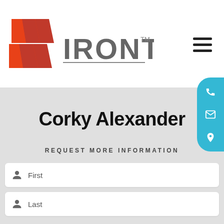[Figure (logo): IronTribe fitness logo with orange chevron arrows and stylized digital font text reading IRONTRIBE with TM mark]
Corky Alexander
REQUEST MORE INFORMATION
First
Last